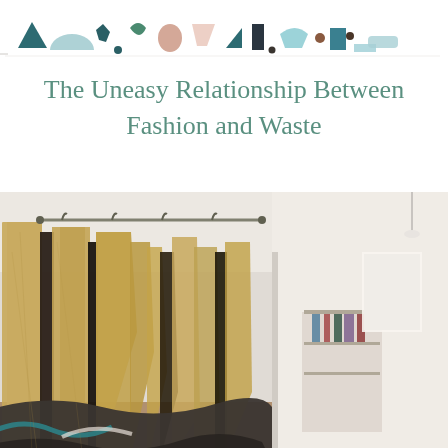[decorative abstract shapes banner in teal, pink, beige, and dark tones]
The Uneasy Relationship Between Fashion and Waste
[Figure (photo): Interior of a fashion studio or workshop with cardboard pattern pieces hanging from racks along a wall on the left, clothes and garments piled on the floor, and a bright open space visible in the background on the right.]